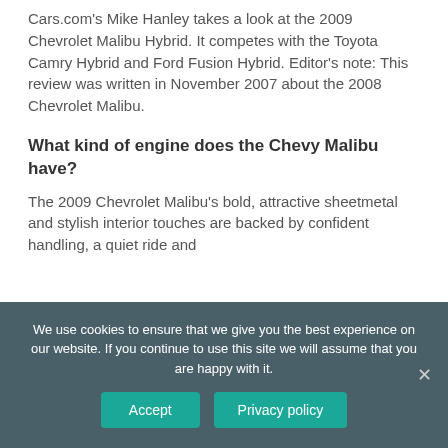Cars.com's Mike Hanley takes a look at the 2009 Chevrolet Malibu Hybrid. It competes with the Toyota Camry Hybrid and Ford Fusion Hybrid. Editor's note: This review was written in November 2007 about the 2008 Chevrolet Malibu.
What kind of engine does the Chevy Malibu have?
The 2009 Chevrolet Malibu's bold, attractive sheetmetal and stylish interior touches are backed by confident handling, a quiet ride and
We use cookies to ensure that we give you the best experience on our website. If you continue to use this site we will assume that you are happy with it.